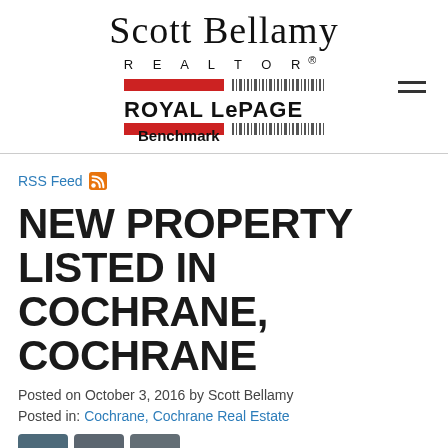Scott Bellamy REALTOR®
[Figure (logo): Royal LePage Benchmark logo with red bars and barcode-style lines]
RSS Feed
NEW PROPERTY LISTED IN COCHRANE, COCHRANE
Posted on October 3, 2016 by Scott Bellamy
Posted in: Cochrane, Cochrane Real Estate